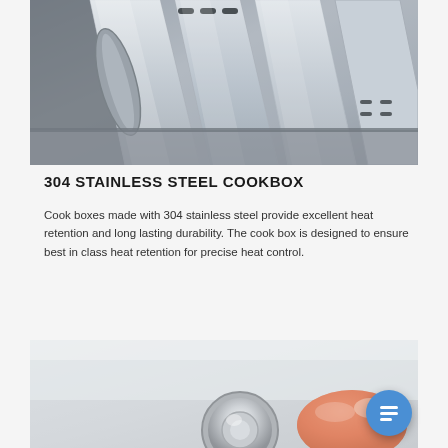[Figure (photo): Close-up photo of 304 stainless steel cook box grill components showing multiple stainless steel grates and heat distribution panels at an angle]
304 STAINLESS STEEL COOKBOX
Cook boxes made with 304 stainless steel provide excellent heat retention and long lasting durability. The cook box is designed to ensure best in class heat retention for precise heat control.
[Figure (photo): Close-up photo of a finger pressing a stainless steel knob or dial on a white/silver surface, with a blue chat bubble icon overlaid in the bottom right corner]